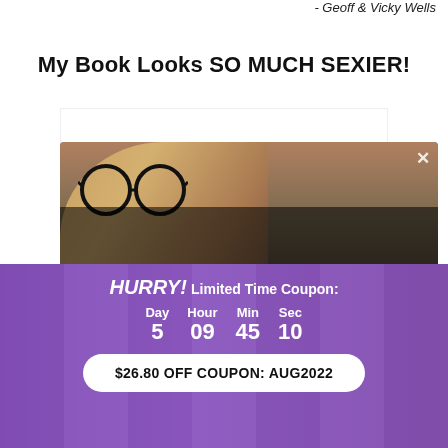- Geoff & Vicky Wells
My Book Looks SO MUCH SEXIER!
[Figure (screenshot): Video player showing a person with large round glasses, overlaid with a 'Player error' message: 'The player is having trouble. We'll have it back up and running as soon as possible.']
HURRY! Limited Time Coupon:
Day 5  Hour 09  Min 45  Sec 10
$26.80 OFF COUPON: AUG2022